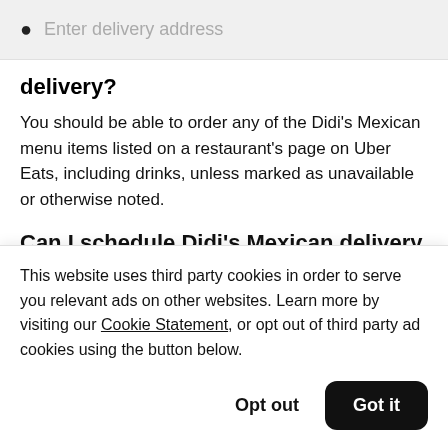Enter delivery address
delivery?
You should be able to order any of the Didi's Mexican menu items listed on a restaurant's page on Uber Eats, including drinks, unless marked as unavailable or otherwise noted.
Can I schedule Didi's Mexican delivery using
This website uses third party cookies in order to serve you relevant ads on other websites. Learn more by visiting our Cookie Statement, or opt out of third party ad cookies using the button below.